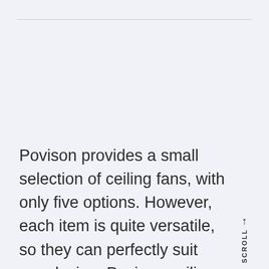Povison provides a small selection of ceiling fans, with only five options. However, each item is quite versatile, so they can perfectly suit any design. Povison ceiling fans are